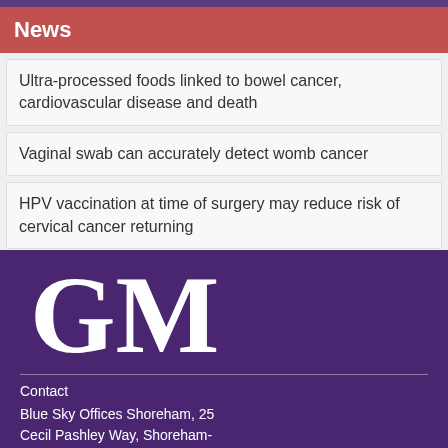News
Ultra-processed foods linked to bowel cancer, cardiovascular disease and death
Vaginal swab can accurately detect womb cancer
HPV vaccination at time of surgery may reduce risk of cervical cancer returning
Nearly half of UK adults with red flag cancer symptom wait six months before contacting GP
[Figure (logo): GM logo in large white serif text on purple background]
Contact
Blue Sky Offices Shoreham, 25 Cecil Pashley Way, Shoreham-by-Sea, West Sussex, BN43